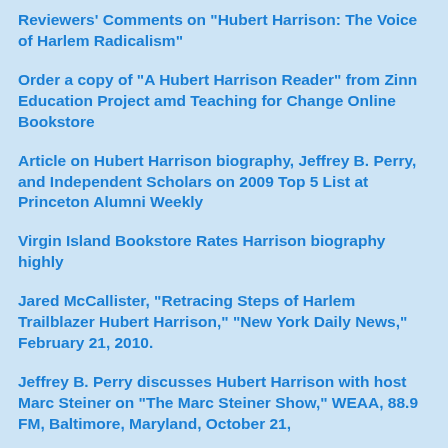Reviewers' Comments on "Hubert Harrison: The Voice of Harlem Radicalism"
Order a copy of "A Hubert Harrison Reader" from Zinn Education Project amd Teaching for Change Online Bookstore
Article on Hubert Harrison biography, Jeffrey B. Perry, and Independent Scholars on 2009 Top 5 List at Princeton Alumni Weekly
Virgin Island Bookstore Rates Harrison biography highly
Jared McCallister, "Retracing Steps of Harlem Trailblazer Hubert Harrison," "New York Daily News," February 21, 2010.
Jeffrey B. Perry discusses Hubert Harrison with host Marc Steiner on "The Marc Steiner Show," WEAA, 88.9 FM, Baltimore, Maryland, October 21,